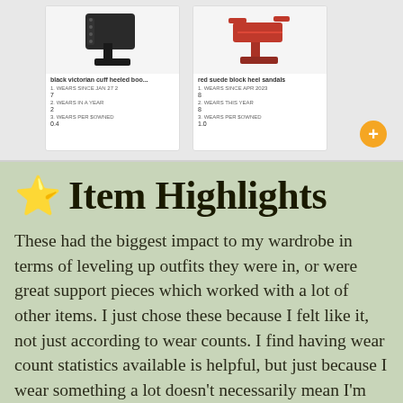[Figure (screenshot): Product cards showing two shoes: black victorian cuff heeled boots and red suede block heel sandals, with wear statistics and a plus button]
⭐ Item Highlights
These had the biggest impact to my wardrobe in terms of leveling up outfits they were in, or were great support pieces which worked with a lot of other items. I just chose these because I felt like it, not just according to wear counts. I find having wear count statistics available is helpful, but just because I wear something a lot doesn't necessarily mean I'm totally happy with it. Going over a few flops in the end as well.